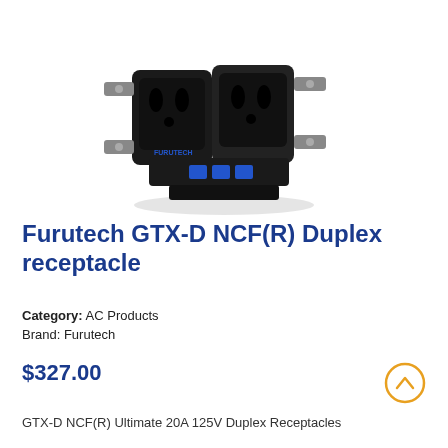[Figure (photo): Black Furutech GTX-D NCF(R) duplex receptacle outlet product photo on white background]
Furutech GTX-D NCF(R) Duplex receptacle
Category: AC Products
Brand: Furutech
$327.00
GTX-D NCF(R) Ultimate 20A 125V Duplex Receptacles